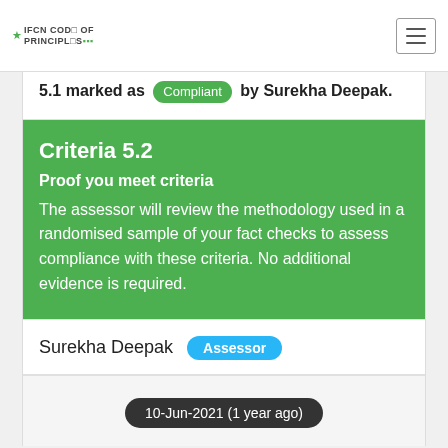IFCN Code of Principles
5.1 marked as Compliant by Surekha Deepak.
Criteria 5.2
Proof you meet criteria
The assessor will review the methodology used in a randomised sample of your fact checks to assess compliance with these criteria. No additional evidence is required.
Surekha Deepak  Assessor
10-Jun-2021 (1 year ago)